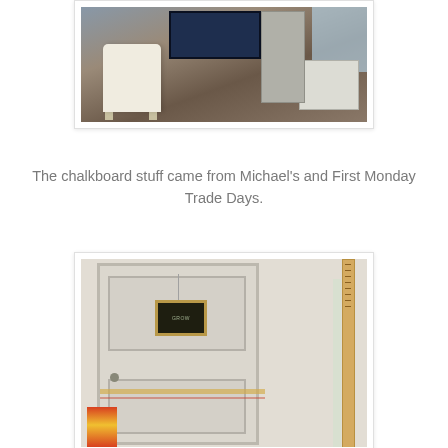[Figure (photo): Classroom interior showing a white upholstered chair, filing cabinet, teacher's desk, bulletin board, and window]
The chalkboard stuff came from Michael's and First Monday Trade Days.
[Figure (photo): White classroom door with a small chalkboard sign hanging on it, a ruler leaning against the wall on the right, and colorful toys/materials at the bottom left]